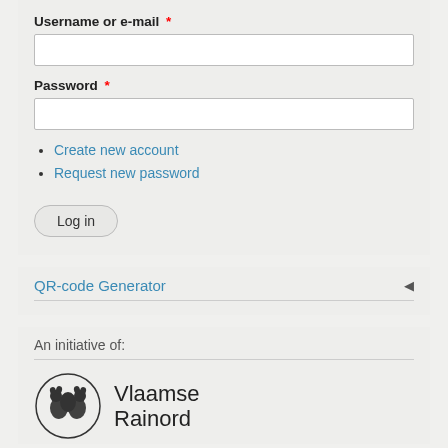Username or e-mail *
Password *
Create new account
Request new password
Log in
QR-code Generator
An initiative of:
[Figure (logo): Vlaamse Rainord logo with circular emblem and text 'Vlaamse Rainord']